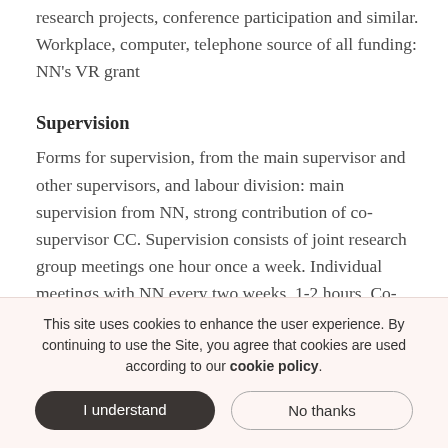research projects, conference participation and similar. Workplace, computer, telephone source of all funding: NN's VR grant
Supervision
Forms for supervision, from the main supervisor and other supervisors, and labour division: main supervision from NN, strong contribution of co-supervisor CC. Supervision consists of joint research group meetings one hour once a week. Individual meetings with NN every two weeks, 1-2 hours. Co-supervisor joins for discussions on experimental design and interpretation of
This site uses cookies to enhance the user experience. By continuing to use the Site, you agree that cookies are used according to our cookie policy.